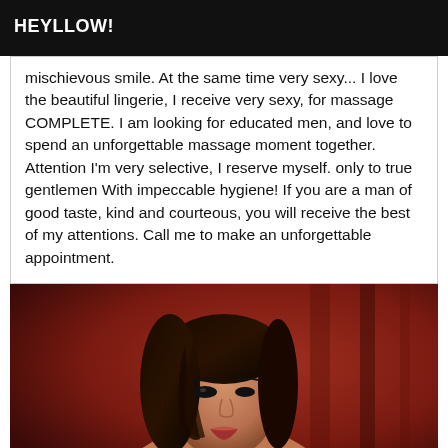HEYLLOW!
mischievous smile. At the same time very sexy... I love the beautiful lingerie, I receive very sexy, for massage COMPLETE. I am looking for educated men, and love to spend an unforgettable massage moment together. Attention I'm very selective, I reserve myself. only to true gentlemen With impeccable hygiene! If you are a man of good taste, kind and courteous, you will receive the best of my attentions. Call me to make an unforgettable appointment.
[Figure (photo): Woman with dark hair against a dark red/burgundy curtain background]